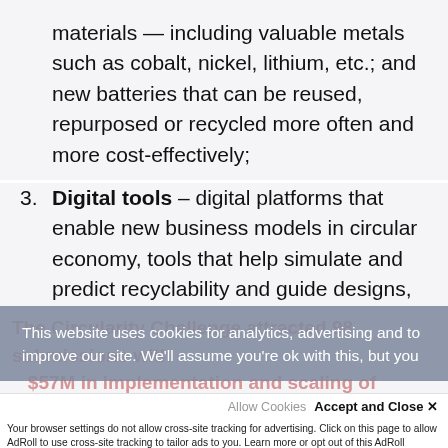materials — including valuable metals such as cobalt, nickel, lithium, etc.; and new batteries that can be reused, repurposed or recycled more often and more cost-effectively;
Digital tools — digital platforms that enable new business models in circular economy, tools that help simulate and predict recyclability and guide designs, and technologies that support tracking and reporting of value streams.
This website uses cookies for analytics, advertising and to improve our site. We'll assume you're ok with this, but you
Accept and Close ✕
Your browser settings do not allow cross-site tracking for advertising. Click on this page to allow AdRoll to use cross-site tracking to tailor ads to you. Learn more or opt out of this AdRoll tracking by clicking here. This message only appears once.